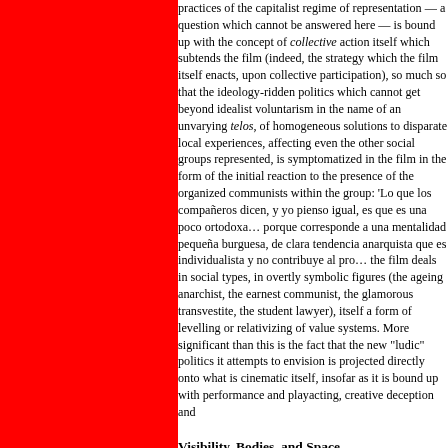practices of the capitalist regime of representation — a question which cannot be answered here — is bound up with the concept of collective action itself which subtends the film (indeed, the strategy which the film itself enacts, upon collective participation), so much so that the ideology-ridden politics which cannot get beyond idealist voluntarism in the name of an unvarying telos, of homogeneous solutions to disparate local experiences, affecting even the other social groups represented, is symptomatized in the film in the form of the initial reaction to the presence of the organized communists within the group: 'Lo que los compañeros dicen, y yo pienso igual, es que es una poco ortodoxa… porque corresponde a una mentalidad pequeña burguesa, de clara tendencia anarquista que es individualista y no contribuye al pro… the film deals in social types, in overtly symbolic figures (the ageing anarchist, the earnest communist, the glamorous transvestite, the student lawyer), itself a form of levelling or relativizing of value systems. More significant than this is the fact that the new "ludic" politics it attempts to envision is projected directly onto what is cinematic itself, insofar as it is bound up with performance and playacting, creative deception and
Visibility, Bodies, and Space